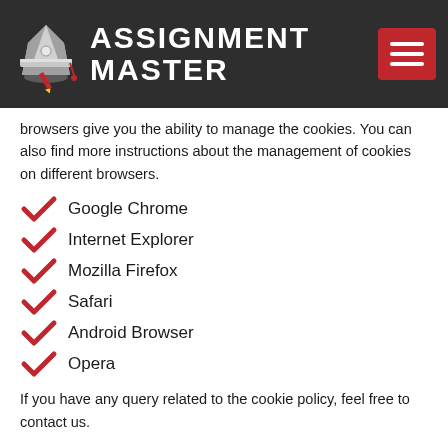ASSIGNMENT MASTER
browsers give you the ability to manage the cookies. You can also find more instructions about the management of cookies on different browsers.
Google Chrome
Internet Explorer
Mozilla Firefox
Safari
Android Browser
Opera
If you have any query related to the cookie policy, feel free to contact us.